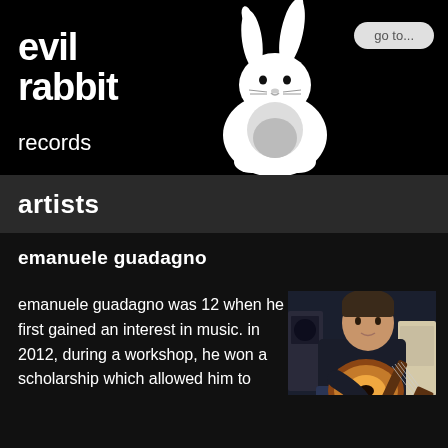[Figure (logo): Evil Rabbit Records logo: white rabbit silhouette on black background with bold text 'evil rabbit records']
go to...
artists
emanuele guadagno
emanuele guadagno was 12 when he first gained an interest in music. in 2012, during a workshop, he won a scholarship which allowed him to attend the music education courses at fondazione siena jazz . the following year,
[Figure (photo): Photo of emanuele guadagno playing a jazz guitar (sunburst archtop), seated, wearing dark clothing, with amplifier equipment in background]